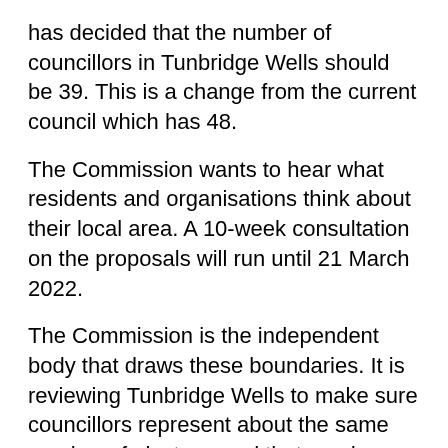has decided that the number of councillors in Tunbridge Wells should be 39. This is a change from the current council which has 48.
The Commission wants to hear what residents and organisations think about their local area. A 10-week consultation on the proposals will run until 21 March 2022.
The Commission is the independent body that draws these boundaries. It is reviewing Tunbridge Wells to make sure councillors represent about the same number of electors, and that ward arrangements help the council work effectively. It wants to be sure that its proposals reflect community ties and identities.
The Commission is interested in views on which